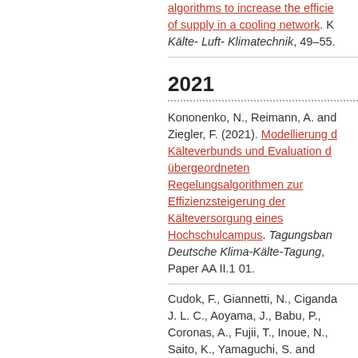algorithms to increase the efficiency of supply in a cooling network. Kälte- Luft- Klimatechnik, 49–55.
2021
Kononenko, N., Reimann, A. and Ziegler, F. (2021). Modellierung des Kälteverbunds und Evaluation der übergeordneten Regelungsalgorithmen zur Effizienzsteigerung der Kälteversorgung eines Hochschulcampus. Tagungsband Deutsche Klima-Kälte-Tagung, Paper AA II.1 01.
Cudok, F., Giannetti, N., Ciganda J. L. C., Aoyama, J., Babu, P., Coronas, A., Fujii, T., Inoue, N., Saito, K., Yamaguchi, S. and Ziegler, F. (2021). Absorption he...